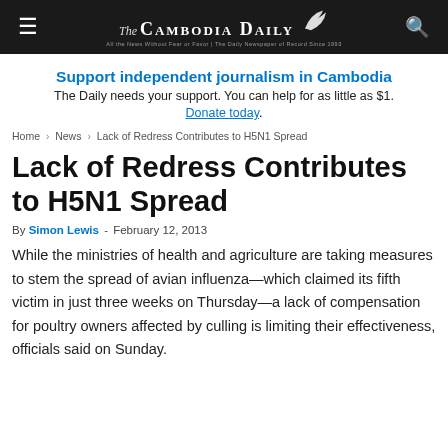The Cambodia Daily
Support independent journalism in Cambodia
The Daily needs your support. You can help for as little as $1.
Donate today.
Home › News › Lack of Redress Contributes to H5N1 Spread
Lack of Redress Contributes to H5N1 Spread
By Simon Lewis - February 12, 2013
While the ministries of health and agriculture are taking measures to stem the spread of avian influenza—which claimed its fifth victim in just three weeks on Thursday—a lack of compensation for poultry owners affected by culling is limiting their effectiveness, officials said on Sunday.